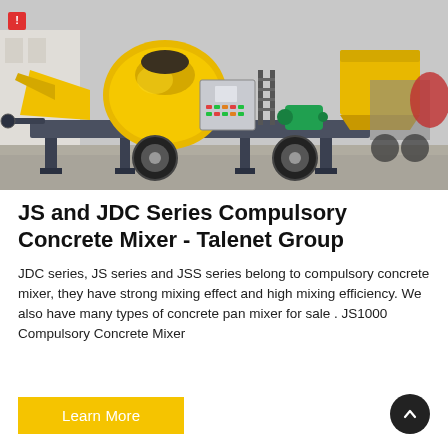[Figure (photo): Yellow compulsory concrete mixer machine (JS/JDC series) with control panel, green motor, pneumatic tires, and steel frame, photographed outdoors on a paved surface.]
JS and JDC Series Compulsory Concrete Mixer - Talenet Group
JDC series, JS series and JSS series belong to compulsory concrete mixer, they have strong mixing effect and high mixing efficiency. We also have many types of concrete pan mixer for sale . JS1000 Compulsory Concrete Mixer